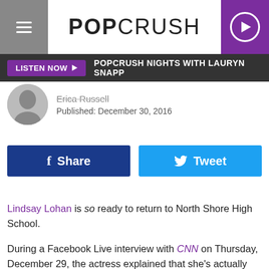POPCRUSH
LISTEN NOW ▶   POPCRUSH NIGHTS WITH LAURYN SNAPP
Erica Russell
Published: December 30, 2016
Share   Tweet
Lindsay Lohan is so ready to return to North Shore High School.
During a Facebook Live interview with CNN on Thursday, December 29, the actress explained that she's actually written a screen treatment for a proposed sequel to her hit 2004 comedy, Mean Girls, and that she is urging for the film to be made.
"I have always tried to have a Mean Girls 2, I decided